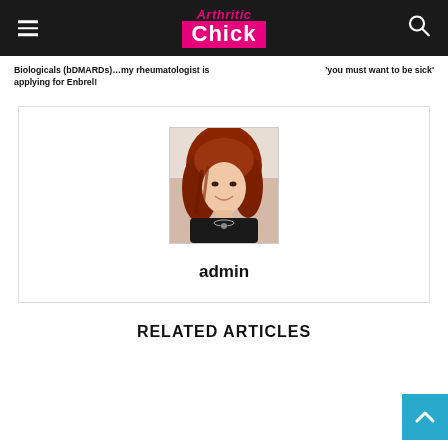Arthritic Chick
Biologicals (bDMARDs)…my rheumatologist is applying for Enbrel!
'you must want to be sick'
[Figure (photo): Profile photo of admin - person with red/auburn hair, smiling, wearing dark clothing with necklace]
admin
RELATED ARTICLES